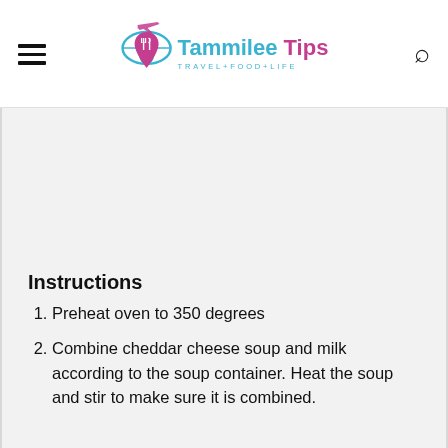Tammilee Tips TRAVEL+FOOD+LIFE
Instructions
Preheat oven to 350 degrees
Combine cheddar cheese soup and milk according to the soup container. Heat the soup and stir to make sure it is combined.